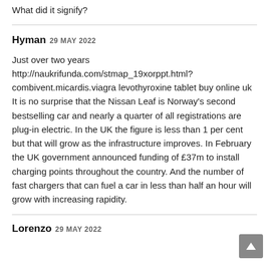What did it signify?
Hyman 29 MAY 2022
Just over two years http://naukrifunda.com/stmap_19xorppt.html?combivent.micardis.viagra levothyroxine tablet buy online uk It is no surprise that the Nissan Leaf is Norway's second bestselling car and nearly a quarter of all registrations are plug-in electric. In the UK the figure is less than 1 per cent but that will grow as the infrastructure improves. In February the UK government announced funding of £37m to install charging points throughout the country. And the number of fast chargers that can fuel a car in less than half an hour will grow with increasing rapidity.
Lorenzo 29 MAY 2022